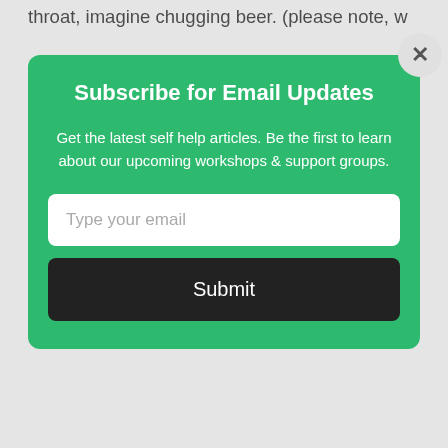throat, imagine chugging beer. (please note, w...
[Figure (screenshot): Email subscription modal popup with green background. Title: 'Subscribe for Email Updates'. Body text: 'Get the latest self help articles. Be the first to learn about our upcoming workshops & support groups.' Email input field with placeholder 'Type your email'. Dark submit button labeled 'Submit'. Close button (X) in top-right corner.]
the opportunity to practice and change with time. By introducing everything all at once, you run the risk of not only overwhelming him but of running out of ideas. Giving a good blow job requires that you do not develop any one particular routine. Each time you give a blow job it should be slightly different. Change, including slight moderations, keeps blow jobs feeling